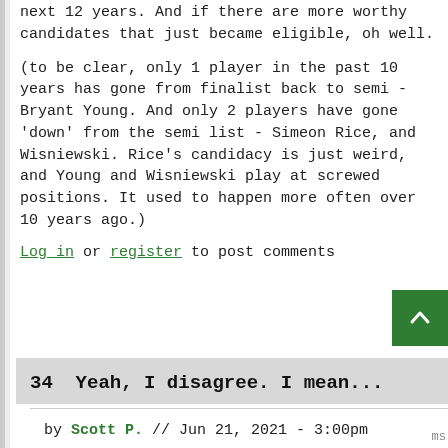next 12 years. And if there are more worthy candidates that just became eligible, oh well.
(to be clear, only 1 player in the past 10 years has gone from finalist back to semi - Bryant Young. And only 2 players have gone 'down' from the semi list - Simeon Rice, and Wisniewski. Rice's candidacy is just weird, and Young and Wisniewski play at screwed positions. It used to happen more often over 10 years ago.)
Log in or register to post comments
34  Yeah, I disagree. I mean...
by Scott P. // Jun 21, 2021 - 3:00pm